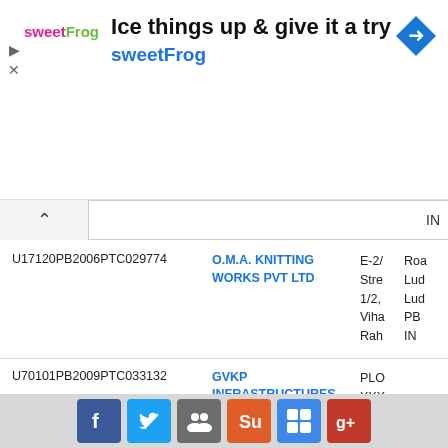[Figure (screenshot): SweetFrog advertisement banner with logo, headline 'Ice things up & give it a try', brand name 'sweetFrog', and navigation arrow icon]
|  | IN |
| --- | --- |
| U17120PB2006PTC029774 | O.M.A. KNITTING WORKS PVT LTD | E-2/
Stre
1/2,
Viha
Rah
Roa
Lud
Lud
PB
IN |
| U70101PB2009PTC033132 | GVKP INFRASTRUCTURES PRIVATE LIMITED | PLO
XXX
14/2 |
[Figure (screenshot): Social media sharing bar with Facebook, Twitter, Myspace, StumbleUpon, Delicious, and Google+ icons]